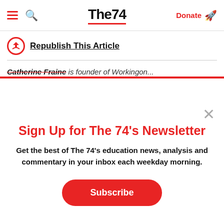The74 — Donate
Republish This Article
Catherine Fraine is founder of Workingon...
Sign Up for The 74's Newsletter
Get the best of The 74's education news, analysis and commentary in your inbox each weekday morning.
Subscribe